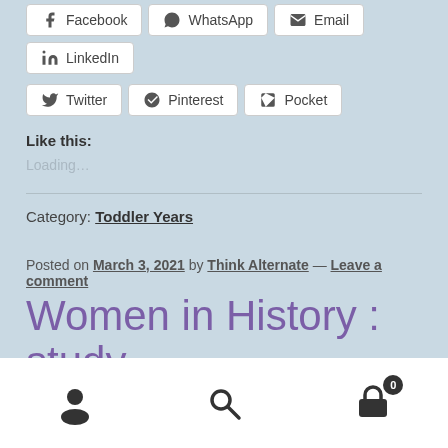Facebook
WhatsApp
Email
LinkedIn
Twitter
Pinterest
Pocket
Like this:
Loading...
Category: Toddler Years
Posted on March 3, 2021 by Think Alternate — Leave a comment
Women in History : study
[Figure (other): Bottom navigation bar with user/account icon, search icon, and shopping cart icon with badge showing 0]